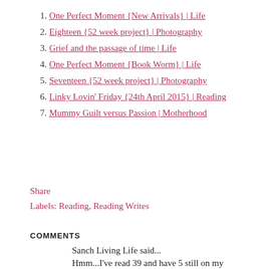1. One Perfect Moment {New Arrivals} | Life
2. Eighteen {52 week project} | Photography
3. Grief and the passage of time | Life
4. One Perfect Moment {Book Worm} | Life
5. Seventeen {52 week project} | Photography
6. Linky Lovin' Friday {24th April 2015} | Reading
7. Mummy Guilt versus Passion | Motherhood
Share
Labels: Reading, Reading Writes
COMMENTS
Sanch Living Life said...
Hmm...I've read 39 and have 5 still on my bookshelf waiting to be read. I can't take this list too seriously though as it has 50 shades of